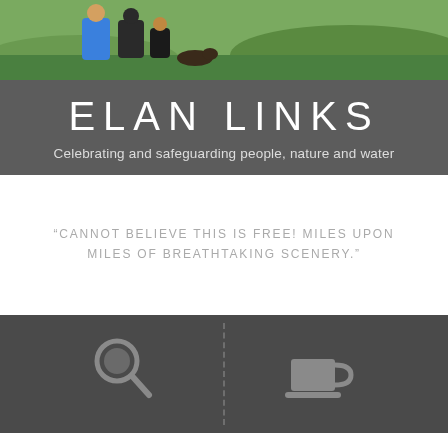[Figure (photo): Outdoor photo showing people (adults and child) walking in green landscape, partial view at top of page]
ELAN LINKS
Celebrating and safeguarding people, nature and water
“CANNOT BELIEVE THIS IS FREE! MILES UPON MILES OF BREATHTAKING SCENERY.”
[Figure (infographic): Dark footer band with two icon sections separated by dotted vertical line: left shows a magnifying glass icon, right shows a tea/coffee cup icon]